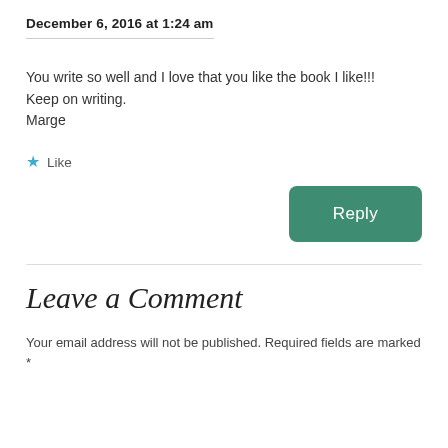December 6, 2016 at 1:24 am
You write so well and I love that you like the book I like!!!
Keep on writing.
Marge
★ Like
Reply
Leave a Comment
Your email address will not be published. Required fields are marked *